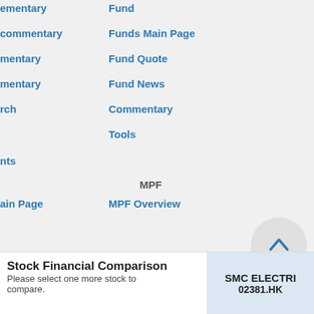commentary
Funds Main Page
commentary
Fund Quote
mentary
Fund News
mentary
Commentary
rch
Tools
nts
MPF
ain Page
MPF Overview
Warrants
MPF Simple Search
Warrants
MPF Comparison
Search
MPF Education
Cs
in Page
CBBCs
e called
CBRCs
[Figure (illustration): Scroll-to-top button, circular, with upward chevron arrow]
Stock Financial Comparison
Please select one more stock to compare.
SMC ELECTRI
02381.HK